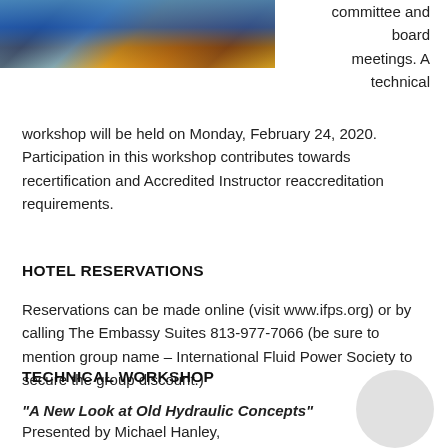[Figure (photo): Photo of colorful buildings with blue and orange/gold architectural details]
committee and board meetings. A technical workshop will be held on Monday, February 24, 2020. Participation in this workshop contributes towards recertification and Accredited Instructor reaccreditation requirements.
HOTEL RESERVATIONS
Reservations can be made online (visit www.ifps.org) or by calling The Embassy Suites 813-977-7066 (be sure to mention group name – International Fluid Power Society to secure the group discount.)
TECHNICAL WORKSHOP
“A New Look at Old Hydraulic Concepts”
Presented by Michael Hanley,
CFPAI/AJPP, CFPS, CFPIHM, CFPCC, Electro Hydraulic Machinery Co.
Monday, February 24, 2020